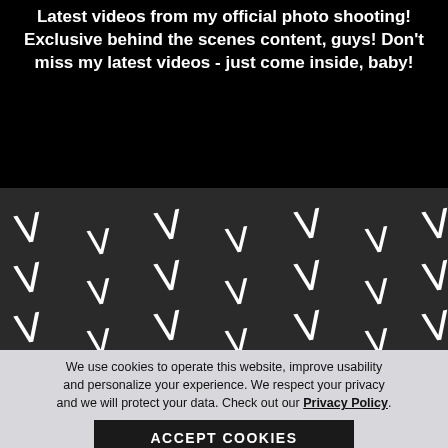Latest videos from my official photo shooting! Exclusive behind the scenes content, guys! Don't miss my latest videos - just come inside, baby!
[Figure (illustration): Dark grey background filled with repeating white V-shaped logo marks in a diagonal staggered pattern]
We use cookies to operate this website, improve usability and personalize your experience. We respect your privacy and we will protect your data. Check out our Privacy Policy.
ACCEPT COOKIES